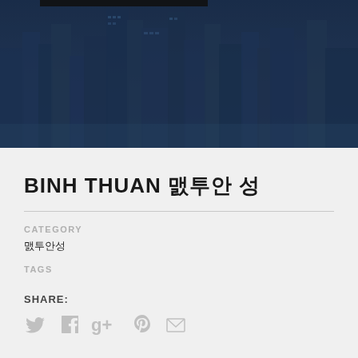[Figure (photo): Aerial/overhead view of a city skyline with skyscrapers, tinted in dark blue overlay]
BINH THUAN 빈투안 성
CATEGORY
빈투안성
TAGS
SHARE: